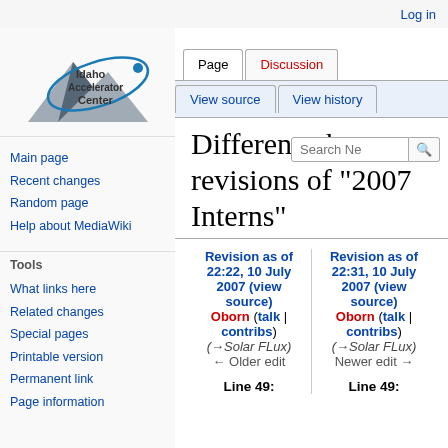Log in
[Figure (logo): Idaho Accelerator Center logo with mountain and oval orbital shape]
Main page
Recent changes
Random page
Help about MediaWiki
Tools
What links here
Related changes
Special pages
Printable version
Permanent link
Page information
Difference between revisions of "2007 Interns"
| Revision as of 22:22, 10 July 2007 (view source) | Revision as of 22:31, 10 July 2007 (view source) |
| --- | --- |
| Oborn (talk | contribs) | Oborn (talk | contribs) |
| (→Solar FLux) | (→Solar FLux) |
| ← Older edit | Newer edit → |
| Line 49: | Line 49: |